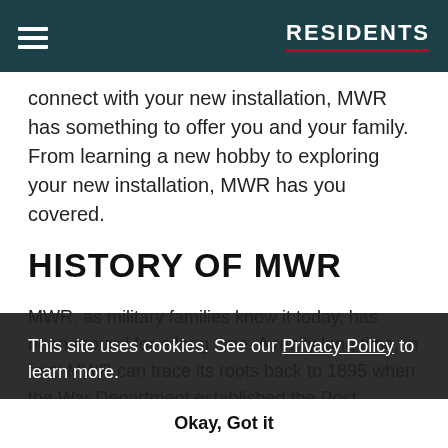RESIDENTS
connect with your new installation, MWR has something to offer you and your family. From learning a new hobby to exploring your new installation, MWR has you covered.
HISTORY OF MWR
MWR, as military families know it today, has been around for a long time. A really long time, in fact! MWR can trace its roots back to 1895 when the War Department established the Post Exchange. It was decided that a portion of the profits from the PX should go to fund recreational activities for military members and their families. At that time, MWR activities included a combination reading
This site uses cookies. See our Privacy Policy to learn more. Okay, Got it